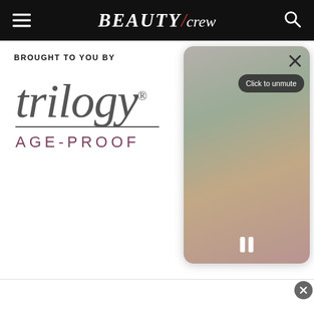BEAUTY/crew
BROUGHT TO YOU BY
[Figure (logo): Trilogy Age-Proof brand logo with stylized italic 'trilogy' text and 'AGE-PROOF' subtitle]
[Figure (screenshot): Video player overlay with blurred background, close X button, Click to unmute button, and pause controls]
[Figure (other): Bottom advertisement banner area with close button]